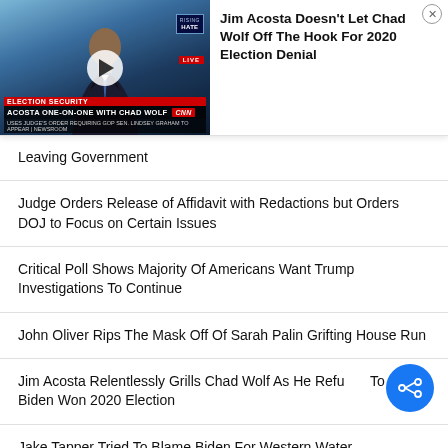[Figure (screenshot): CNN video thumbnail showing Jim Acosta interviewing Chad Wolf, with chyron reading 'ELECTION SECURITY / ACOSTA ONE-ON-ONE WITH CHAD WOLF' and CNN logo. A play button is visible in the center.]
Jim Acosta Doesn't Let Chad Wolf Off The Hook For 2020 Election Denial
Leaving Government
Judge Orders Release of Affidavit with Redactions but Orders DOJ to Focus on Certain Issues
Critical Poll Shows Majority Of Americans Want Trump Investigations To Continue
John Oliver Rips The Mask Off Of Sarah Palin Grifting House Run
Jim Acosta Relentlessly Grills Chad Wolf As He Refuses To Say Biden Won 2020 Election
Jake Tapper Tried To Blame Biden For Western Water